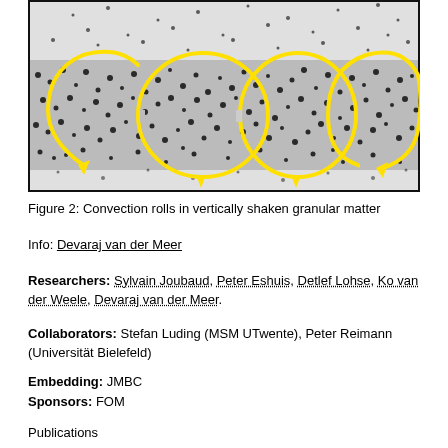[Figure (photo): Black and white photograph of granular matter with four yellow circular arrows overlaid, indicating convection roll patterns in vertically shaken granular material. The arrows show circular motion (downward in the center of each roll). Dark granular particles are densely packed forming a band across the image.]
Figure 2: Convection rolls in vertically shaken granular matter
Info: Devaraj van der Meer
Researchers: Sylvain Joubaud, Peter Eshuis, Detlef Lohse, Ko van der Weele, Devaraj van der Meer.
Collaborators: Stefan Luding (MSM UTwente), Peter Reimann (Universität Bielefeld)
Embedding: JMBC
Sponsors: FOM
Publications